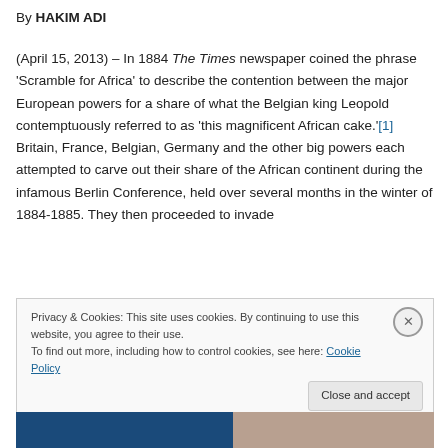By HAKIM ADI
(April 15, 2013) – In 1884 The Times newspaper coined the phrase 'Scramble for Africa' to describe the contention between the major European powers for a share of what the Belgian king Leopold contemptuously referred to as 'this magnificent African cake.'[1] Britain, France, Belgian, Germany and the other big powers each attempted to carve out their share of the African continent during the infamous Berlin Conference, held over several months in the winter of 1884-1885. They then proceeded to invade
Privacy & Cookies: This site uses cookies. By continuing to use this website, you agree to their use.
To find out more, including how to control cookies, see here: Cookie Policy
Close and accept